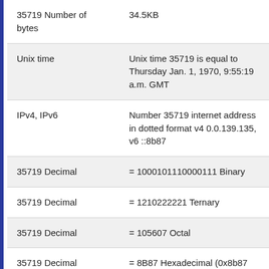| Property | Value |
| --- | --- |
| 35719 Number of bytes | 34.5KB |
| Unix time | Unix time 35719 is equal to Thursday Jan. 1, 1970, 9:55:19 a.m. GMT |
| IPv4, IPv6 | Number 35719 internet address in dotted format v4 0.0.139.135, v6 ::8b87 |
| 35719 Decimal | = 1000101110000111 Binary |
| 35719 Decimal | = 1210222221 Ternary |
| 35719 Decimal | = 105607 Octal |
| 35719 Decimal | = 8B87 Hexadecimal (0x8b87 hex) |